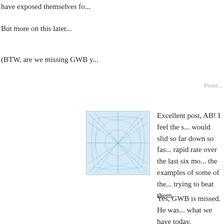have exposed themselves fo...
But more on this later...
(BTW, are we missing GWB y...
Poste...
[Figure (illustration): Avatar icon: blue web-like circular network pattern on light blue background]
Excellent post, AB! I feel the s... would slid so far down so fas... rapid rate over the last six mo... the examples of some of the ... trying to beat them.
Yes, GWB is missed. He was... what we have today.
[Figure (illustration): Avatar icon: blue web-like circular network pattern on light blue background]
PD:
"No, sorry. They don't get to p...
They didn't, and the other sid... side chose pro-life, and the p... very similar reasons.